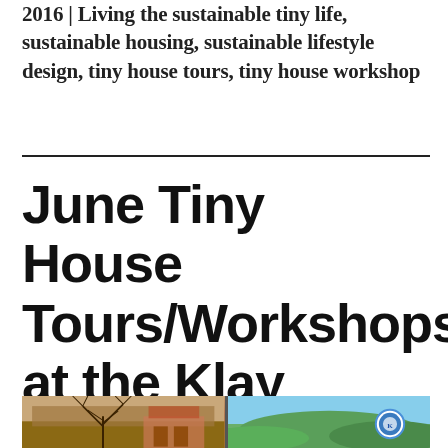2016 | Living the sustainable tiny life, sustainable housing, sustainable lifestyle design, tiny house tours, tiny house workshop
June Tiny House Tours/Workshops at the Klay Winery
[Figure (photo): Two photos side by side: left shows bare trees with a building in background, right shows green hills with a circular logo/badge visible]